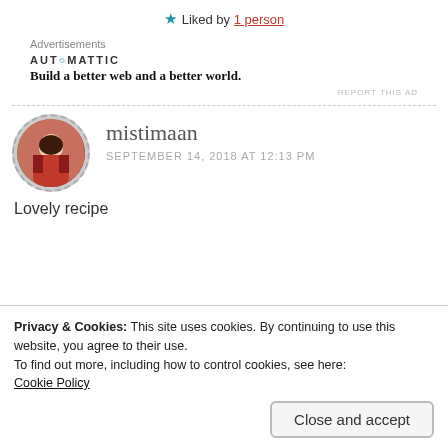★ Liked by 1 person
Advertisements
AUTOMATTIC
Build a better web and a better world.
REPORT THIS AD
[Figure (photo): Avatar/profile photo of commenter mistimaan in a circular dashed border]
mistimaan
SEPTEMBER 14, 2018 AT 12:13 PM
Lovely recipe
Privacy & Cookies: This site uses cookies. By continuing to use this website, you agree to their use.
To find out more, including how to control cookies, see here:
Cookie Policy
Close and accept